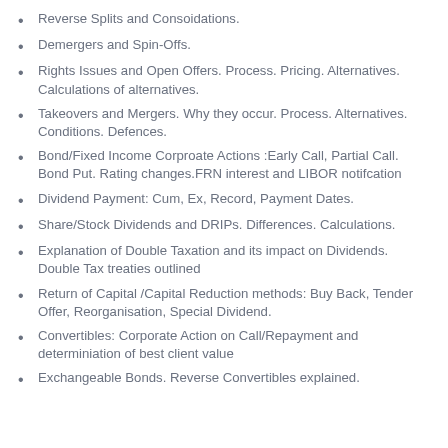Reverse Splits and Consoidations.
Demergers and Spin-Offs.
Rights Issues and Open Offers. Process. Pricing. Alternatives. Calculations of alternatives.
Takeovers and Mergers. Why they occur. Process. Alternatives. Conditions. Defences.
Bond/Fixed Income Corproate Actions :Early Call, Partial Call. Bond Put. Rating changes.FRN interest and LIBOR notifcation
Dividend Payment: Cum, Ex, Record, Payment Dates.
Share/Stock Dividends and DRIPs. Differences. Calculations.
Explanation of Double Taxation and its impact on Dividends. Double Tax treaties outlined
Return of Capital /Capital Reduction methods: Buy Back, Tender Offer, Reorganisation, Special Dividend.
Convertibles: Corporate Action on Call/Repayment and determiniation of best client value
Exchangeable Bonds. Reverse Convertibles explained.